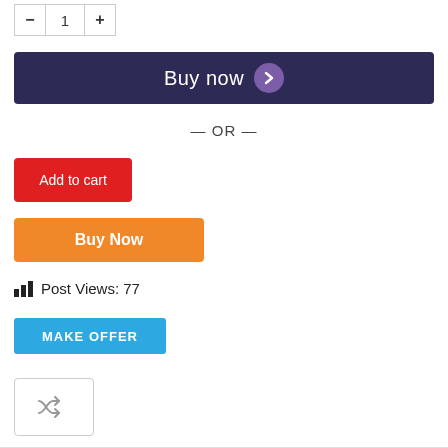[Figure (screenshot): Quantity selector with minus, 1, plus buttons]
[Figure (screenshot): Buy now button with purple chevron circle on dark navy background]
— OR —
[Figure (screenshot): Add to cart red button]
[Figure (screenshot): Buy Now orange button]
Post Views: 77
[Figure (screenshot): MAKE OFFER blue button]
[Figure (screenshot): Share icon box with shuffle/share SVG icon]